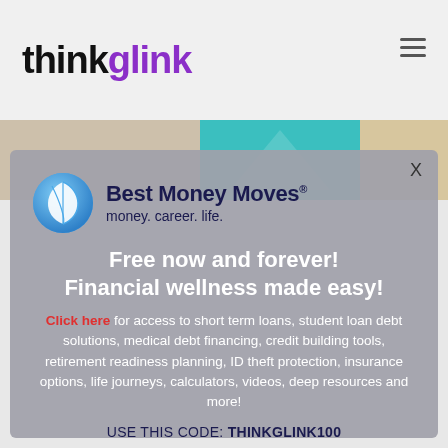thinkglink
[Figure (logo): Best Money Moves logo: blue circular leaf icon with text 'Best Money Moves®' and tagline 'money. career. life.']
Free now and forever!
Financial wellness made easy!
Click here for access to short term loans, student loan debt solutions, medical debt financing, credit building tools, retirement readiness planning, ID theft protection, insurance options, life journeys, calculators, videos, deep resources and more!
USE THIS CODE: THINKGLINK100